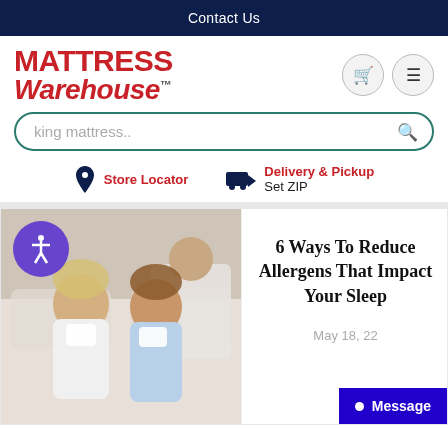Contact Us
[Figure (logo): Mattress Warehouse logo with red bold italic text]
king mattress..
Store Locator
Delivery & Pickup
Set ZIP
[Figure (photo): Two young children blowing their noses with tissues, sitting in bed with an adult in the background]
6 Ways To Reduce Allergens That Impact Your Sleep
May 18, 22